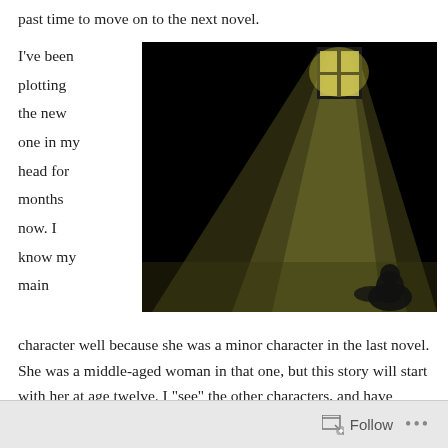past time to move on to the next novel.
I've been plotting the new one in my head for months now. I know my main character well because she was a minor character in the last novel. She was a middle-aged woman in that one, but this story will start with her at age twelve. I "see" the other characters, and have written brief sketches of them for my file. I know how the story begins and ends. I've drafted
[Figure (photo): Dark atmospheric photo of a beam of yellow-green light streaming through a small barred window into a dark room, with a silhouette visible in the lower right corner.]
Follow ...